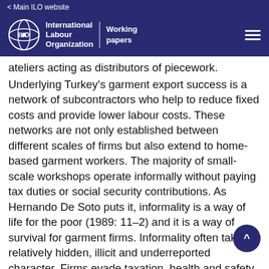< Main ILO website
[Figure (logo): ILO International Labour Organization Working Papers logo with hamburger menu]
ateliers acting as distributors of piecework. Underlying Turkey's garment export success is a network of subcontractors who help to reduce fixed costs and provide lower labour costs. These networks are not only established between different scales of firms but also extend to home-based garment workers. The majority of small-scale workshops operate informally without paying tax duties or social security contributions. As Hernando De Soto puts it, informality is a way of life for the poor (1989: 11–2) and it is a way of survival for garment firms. Informality often takes a relatively hidden, illicit and underreported character. Firms evade taxation, health and safety regulations, labour rights and social security rules. Small workshops, in particular, keep themselves officially unrecorded. Firms usually try to reduce their VAT and income tax burden by underreporting the unit price or the volume of work.